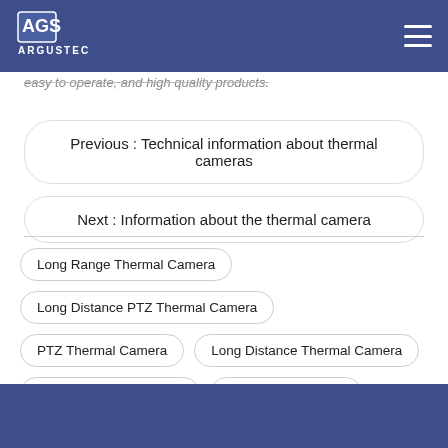ARGUSTEC
easy to operate, and high quality products.
Previous : Technical information about thermal cameras
Next : Information about the thermal camera
Long Range Thermal Camera
Long Distance PTZ Thermal Camera
PTZ Thermal Camera
Long Distance Thermal Camera
Outoor Thermal Camera
IR Thermal Camera
Outoor IR Thermal Camera